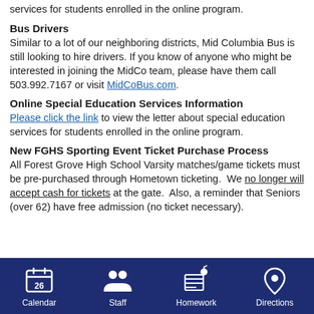services for students enrolled in the online program.
Bus Drivers
Similar to a lot of our neighboring districts, Mid Columbia Bus is still looking to hire drivers. If you know of anyone who might be interested in joining the MidCo team, please have them call 503.992.7167 or visit MidCoBus.com.
Online Special Education Services Information
Please click the link to view the letter about special education services for students enrolled in the online program.
New FGHS Sporting Event Ticket Purchase Process
All Forest Grove High School Varsity matches/game tickets must be pre-purchased through Hometown ticketing.  We no longer will accept cash for tickets at the gate.  Also, a reminder that Seniors (over 62) have free admission (no ticket necessary).
Calendar  Staff  Homework  Directions